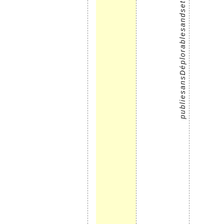[Figure (other): Page layout with yellow highlighted vertical column, dashed vertical guide lines, and vertically rotated italic text reading 'publiesans Deplorables and set' along the right margin.]